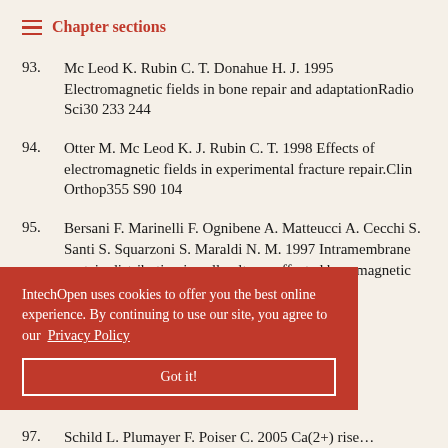Chapter sections
93. Mc Leod K. Rubin C. T. Donahue H. J. 1995 Electromagnetic fields in bone repair and adaptationRadio Sci30 233 244
94. Otter M. Mc Leod K. J. Rubin C. T. 1998 Effects of electromagnetic fields in experimental fracture repair.Clin Orthop355 S90 104
95. Bersani F. Marinelli F. Ognibene A. Matteucci A. Cecchi S. Santi S. Squarzoni S. Maraldi N. M. 1997 Intramembrane protein distribution in cell cultures affected by... magnetic
IntechOpen uses cookies to offer you the best online experience. By continuing to use our site, you agree to our Privacy Policy
Got it!
97. Schild L. Plumayer F. Poiser C. 2005 Ca(2+) rise...